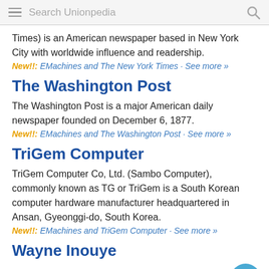Search Unionpedia
Times) is an American newspaper based in New York City with worldwide influence and readership.
New!!: EMachines and The New York Times · See more »
The Washington Post
The Washington Post is a major American daily newspaper founded on December 6, 1877.
New!!: EMachines and The Washington Post · See more »
TriGem Computer
TriGem Computer Co, Ltd. (Sambo Computer), commonly known as TG or TriGem is a South Korean computer hardware manufacturer headquartered in Ansan, Gyeonggi-do, South Korea.
New!!: EMachines and TriGem Computer · See more »
Wayne Inouye